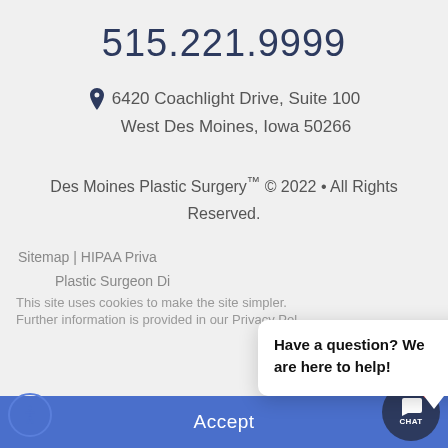515.221.9999
6420 Coachlight Drive, Suite 100
West Des Moines, Iowa 50266
Des Moines Plastic Surgery™ © 2022 • All Rights Reserved.
Sitemap | HIPAA Priva...
Plastic Surgeon Di...
This site uses cookies to make the site simpler.
Further information is provided in our Privacy Pol...
[Figure (screenshot): Chat popup overlay with close button and message 'Have a question? We are here to help!']
Accept
[Figure (other): Accessibility icon button (person in circle) and CHAT button with notification badge showing 1]